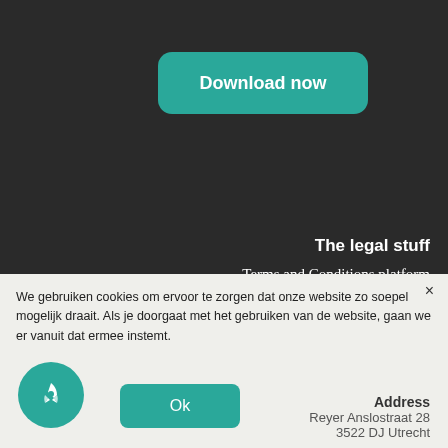[Figure (other): Teal rounded button labeled 'Download now']
The legal stuff
Terms and Conditions platform
Privacy Policy
Cookie Policy
Disclaimer
Contact Us
We gebruiken cookies om ervoor te zorgen dat onze website zo soepel mogelijk draait. Als je doorgaat met het gebruiken van de website, gaan we er vanuit dat ermee instemt.
[Figure (other): Teal rounded 'Ok' button]
Address
Reyer Anslostraat 28
3522 DJ Utrecht